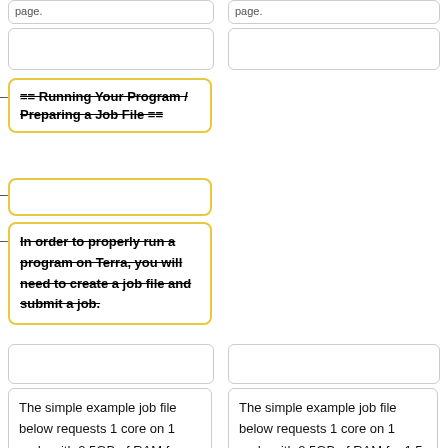page.
page.
== Running Your Program / Preparing a Job File ==
In order to properly run a program on Terra, you will need to create a job file and submit a job.
The simple example job file below requests 1 core on 1 node with 2.5GB of RAM for 1.5 hours. Note that typical nodes on Terra have 28 cores with 120GB of usable memory and ensure that your job requirements will
The simple example job file below requests 1 core on 1 node with 2.5GB of RAM for 1.5 hours. Note that typical nodes on Terra have 28 cores with 120GB of usable memory and ensure that your job requirements will